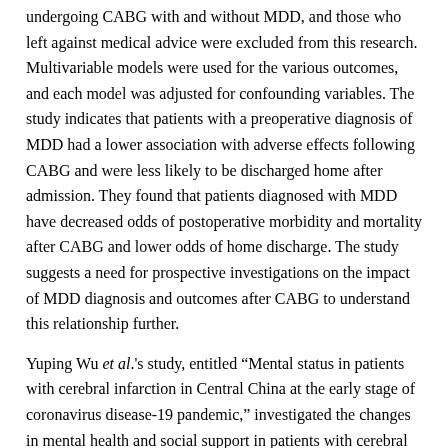undergoing CABG with and without MDD, and those who left against medical advice were excluded from this research. Multivariable models were used for the various outcomes, and each model was adjusted for confounding variables. The study indicates that patients with a preoperative diagnosis of MDD had a lower association with adverse effects following CABG and were less likely to be discharged home after admission. They found that patients diagnosed with MDD have decreased odds of postoperative morbidity and mortality after CABG and lower odds of home discharge. The study suggests a need for prospective investigations on the impact of MDD diagnosis and outcomes after CABG to understand this relationship further.
Yuping Wu et al.'s study, entitled "Mental status in patients with cerebral infarction in Central China at the early stage of coronavirus disease-19 pandemic," investigated the changes in mental health and social support in patients with cerebral infarction during the recovery period at the early stage of the pandemic. They enrolled 98 patients with cerebral infarction, with a solitary group of 42 patients living alone and a spouse group of 56 patients living with their spouses. The total patients were assessed the degrees of anxiety and depression by the Self-Rating Anxiety Scale and Self-Rating Depression Scale. They evaluated the received social support by Multi-Dimensional Scale of